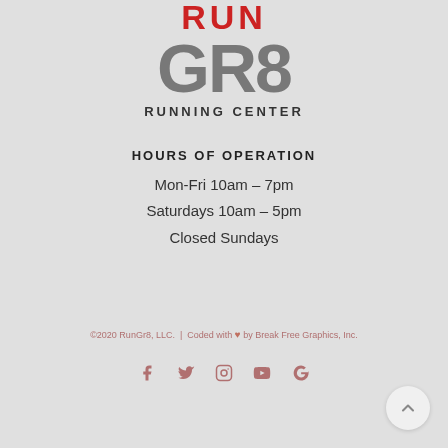[Figure (logo): RunGR8 Running Center logo with red RUN text and gray GR8 text, followed by RUNNING CENTER in black]
HOURS OF OPERATION
Mon-Fri 10am – 7pm
Saturdays 10am – 5pm
Closed Sundays
©2020 RunGr8, LLC.  |  Coded with ♥ by Break Free Graphics, Inc.
[Figure (infographic): Social media icons: Facebook, Twitter, Instagram, YouTube, Google]